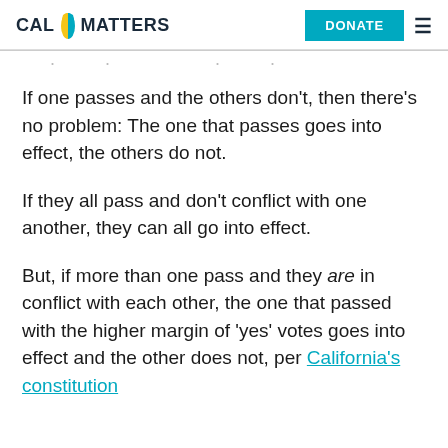CAL MATTERS | DONATE
If one passes and the others don't, then there's no problem: The one that passes goes into effect, the others do not.
If they all pass and don't conflict with one another, they can all go into effect.
But, if more than one pass and they are in conflict with each other, the one that passed with the higher margin of 'yes' votes goes into effect and the other does not, per California's constitution